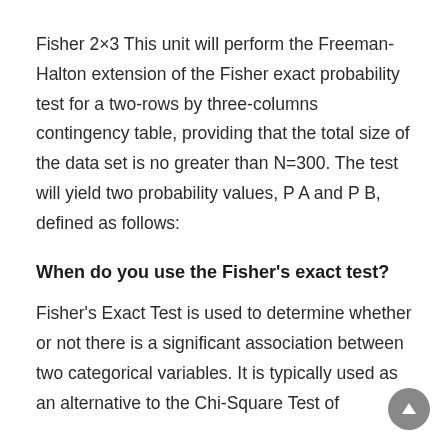Fisher 2×3 This unit will perform the Freeman-Halton extension of the Fisher exact probability test for a two-rows by three-columns contingency table, providing that the total size of the data set is no greater than N=300. The test will yield two probability values, P A and P B, defined as follows:
When do you use the Fisher's exact test?
Fisher's Exact Test is used to determine whether or not there is a significant association between two categorical variables. It is typically used as an alternative to the Chi-Square Test of